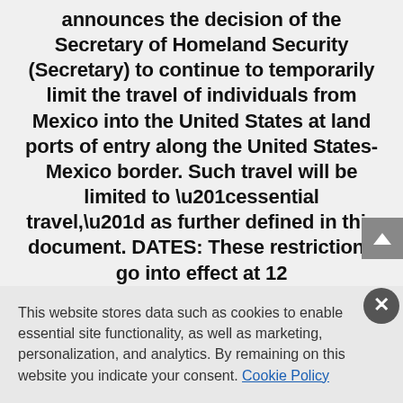SUMMARY: This document announces the decision of the Secretary of Homeland Security (Secretary) to continue to temporarily limit the travel of individuals from Mexico into the United States at land ports of entry along the United States-Mexico border. Such travel will be limited to “essential travel,” as further defined in this document. DATES: These restrictions go into effect at 12
This website stores data such as cookies to enable essential site functionality, as well as marketing, personalization, and analytics. By remaining on this website you indicate your consent. Cookie Policy